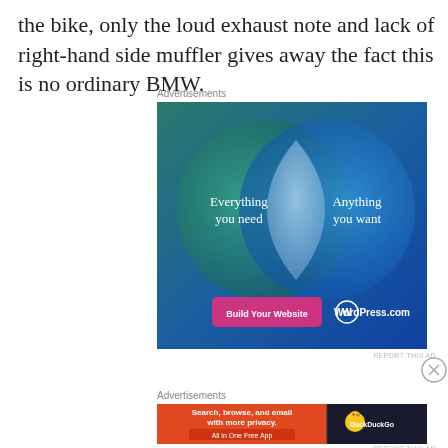the bike, only the loud exhaust note and lack of right-hand side muffler gives away the fact this is no ordinary BMW.
Advertisements
[Figure (illustration): WordPress.com advertisement showing a Venn diagram with two overlapping circles on a blue-green gradient background. Left circle (teal/green): 'Everything you need', right circle (blue): 'Anything you want'. Overlapping area is light blue/white. Bottom has a pink button 'Build Your Website' and WordPress.com logo with text.]
REPORT THIS AD
Advertisements
[Figure (illustration): DuckDuckGo advertisement. Left side orange background with text: 'Search, browse, and email with more privacy. All in One Free App'. Right side dark background with DuckDuckGo logo (duck icon) and 'DuckDuckGo' text.]
REPORT THIS AD